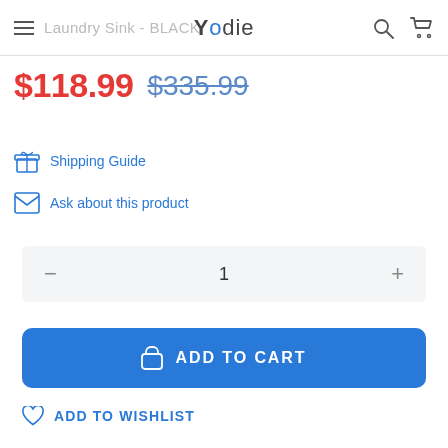Laundry Sink - BLACK | Yodie
$118.99 $335.99
Shipping Guide
Ask about this product
1
ADD TO CART
ADD TO WISHLIST